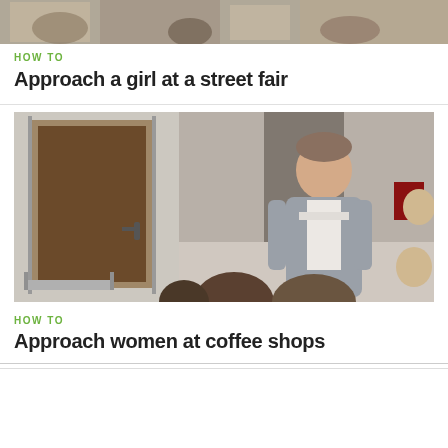[Figure (photo): Top strip of a photo showing people at a street fair]
HOW TO
Approach a girl at a street fair
[Figure (photo): A man in a grey cardigan standing in a room, with people in the foreground and a dark door visible on the left]
HOW TO
Approach women at coffee shops
[Figure (infographic): Advertisement for Official NFL Gear showing 50% OFF logo, text and a blue arrow button]